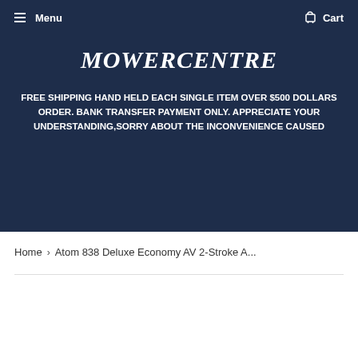Menu   Cart
MOWERCENTRE
FREE SHIPPING HAND HELD EACH SINGLE ITEM OVER $500 DOLLARS ORDER. BANK TRANSFER PAYMENT ONLY. APPRECIATE YOUR UNDERSTANDING,SORRY ABOUT THE INCONVENIENCE CAUSED
Home › Atom 838 Deluxe Economy AV 2-Stroke A...